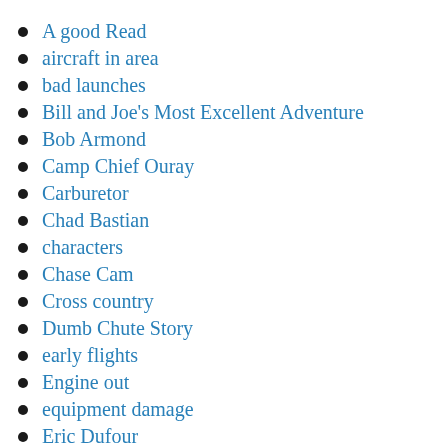A good Read
aircraft in area
bad launches
Bill and Joe's Most Excellent Adventure
Bob Armond
Camp Chief Ouray
Carburetor
Chad Bastian
characters
Chase Cam
Cross country
Dumb Chute Story
early flights
Engine out
equipment damage
Eric Dufour